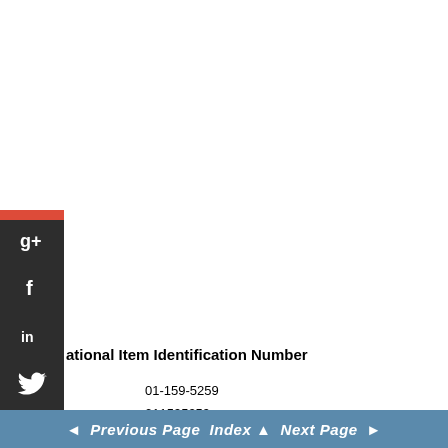[Figure (infographic): Social media sharing sidebar icons: Google+, Facebook, LinkedIn, Twitter, an icon, and StumbleUpon, arranged vertically on the left edge of the page]
ational Item Identification Number
01-159-5259
011595259
6145-01-159-5259
6145011595259
◄ Previous Page  Index ▲  Next Page ►